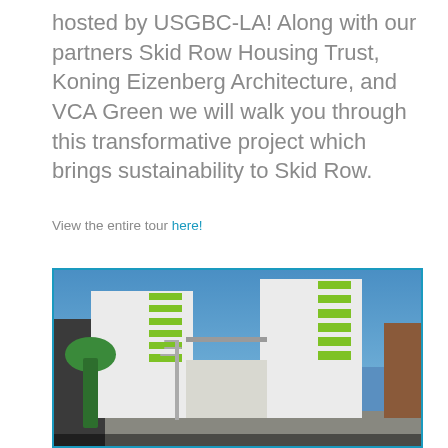hosted by USGBC-LA! Along with our partners Skid Row Housing Trust, Koning Eizenberg Architecture, and VCA Green we will walk you through this transformative project which brings sustainability to Skid Row.
View the entire tour here!
[Figure (photo): Exterior photograph of a modern multi-story residential building complex with white facades and bright green accent panels, photographed against a clear blue sky. Two main white towers are connected by a bridge. Trees and streetlights are visible in the foreground. A darker brown building is visible on the far right.]